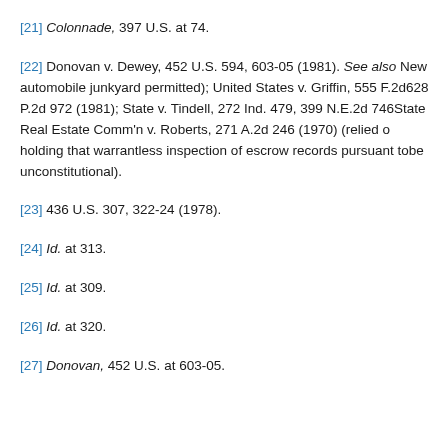[21] Colonnade, 397 U.S. at 74.
[22] Donovan v. Dewey, 452 U.S. 594, 603-05 (1981). See also New... automobile junkyard permitted); United States v. Griffin, 555 F.2d ... 628 P.2d 972 (1981); State v. Tindell, 272 Ind. 479, 399 N.E.2d 746 ... State Real Estate Comm'n v. Roberts, 271 A.2d 246 (1970) (relied on... holding that warrantless inspection of escrow records pursuant to... be unconstitutional).
[23] 436 U.S. 307, 322-24 (1978).
[24] Id. at 313.
[25] Id. at 309.
[26] Id. at 320.
[27] Donovan, 452 U.S. at 603-05.